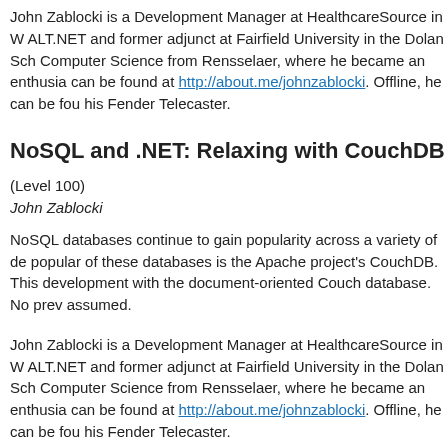John Zablocki is a Development Manager at HealthcareSource in W... ALT.NET and former adjunct at Fairfield University in the Dolan Sch... Computer Science from Rensselaer, where he became an enthusia... can be found at http://about.me/johnzablocki. Offline, he can be fou... his Fender Telecaster.
NoSQL and .NET: Relaxing with CouchDB
(Level 100)
John Zablocki
NoSQL databases continue to gain popularity across a variety of de... popular of these databases is the Apache project's CouchDB. This ... development with the document-oriented Couch database. No prev... assumed.
John Zablocki is a Development Manager at HealthcareSource in W... ALT.NET and former adjunct at Fairfield University in the Dolan Sch... Computer Science from Rensselaer, where he became an enthusia... can be found at http://about.me/johnzablocki. Offline, he can be fou... his Fender Telecaster.